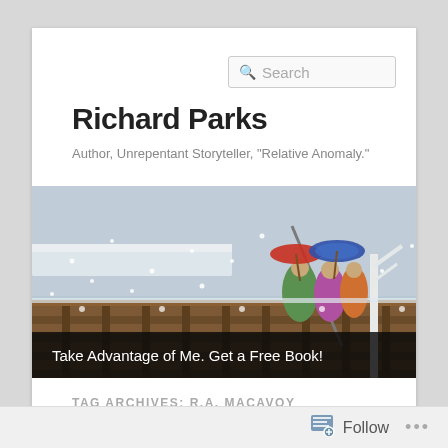Search
Richard Parks
Author, Unrepentant Storyteller, "Relative Anomaly."
[Figure (illustration): Japanese woodblock-style illustration showing figures in traditional robes holding colorful umbrellas crossing a snow-covered bridge, with falling snow and bare white trees. Overlaid with dark bar caption reading 'Take Advantage of Me. Get a Free Book!']
Take Advantage of Me. Get a Free Book!
TAG ARCHIVES: R.A. MACAVOY
Follow